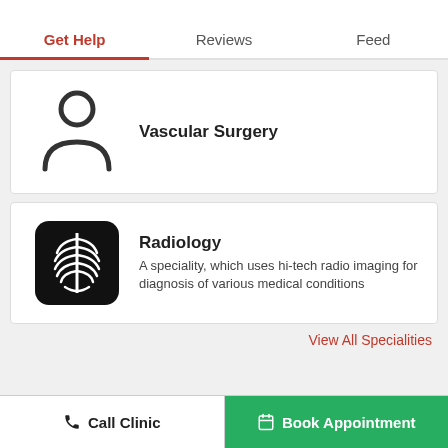Get Help | Reviews | Feed
[Figure (illustration): Person silhouette icon (head and shoulders outline)]
Vascular Surgery
[Figure (illustration): Black rounded-square icon with white ribcage/chest X-ray image]
Radiology
A speciality, which uses hi-tech radio imaging for diagnosis of various medical conditions
View All Specialities
Call Clinic
Book Appointment